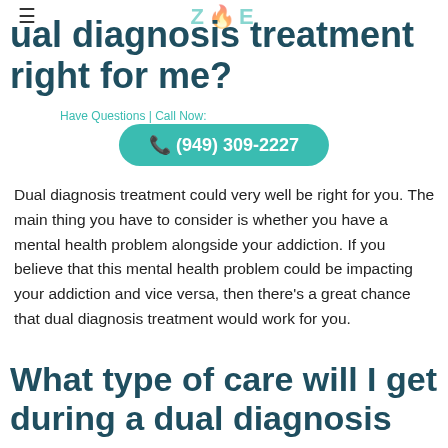ZOE
ual diagnosis treatment right for me?
Have Questions | Call Now:
(949) 309-2227
Dual diagnosis treatment could very well be right for you. The main thing you have to consider is whether you have a mental health problem alongside your addiction. If you believe that this mental health problem could be impacting your addiction and vice versa, then there's a great chance that dual diagnosis treatment would work for you.
What type of care will I get during a dual diagnosis treatment?